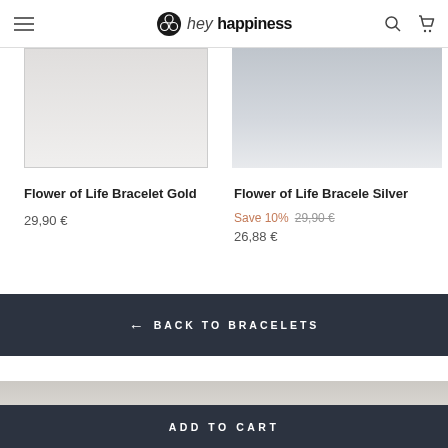hey happiness — navigation header with hamburger menu, logo, search and cart icons
Flower of Life Bracelet Gold
29,90 €
Flower of Life Bracelet Silver
Save 10%  29,90 €  26,88 €
← BACK TO BRACELETS
ADD TO CART